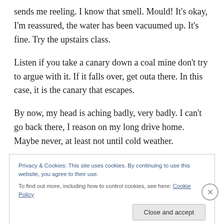sends me reeling. I know that smell. Mould! It's okay, I'm reassured, the water has been vacuumed up. It's fine. Try the upstairs class.
Listen if you take a canary down a coal mine don't try to argue with it. If it falls over, get outa there. In this case, it is the canary that escapes.
By now, my head is aching badly, very badly. I can't go back there, I reason on my long drive home. Maybe never, at least not until cold weather.
Privacy & Cookies: This site uses cookies. By continuing to use this website, you agree to their use.
To find out more, including how to control cookies, see here: Cookie Policy